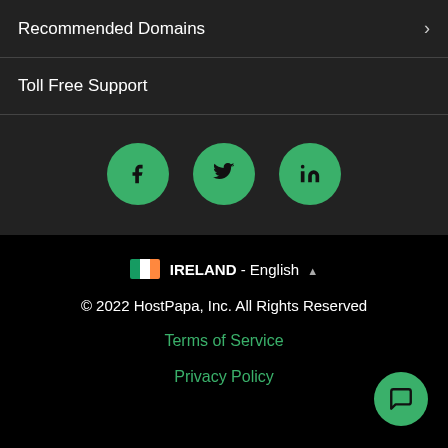Recommended Domains
Toll Free Support
[Figure (other): Three green circle social media buttons: Facebook (f), Twitter (bird), LinkedIn (in)]
IRELAND - English ▲
© 2022 HostPapa, Inc. All Rights Reserved
Terms of Service
Privacy Policy
[Figure (other): Green circular chat button with speech bubble icon in bottom right corner]